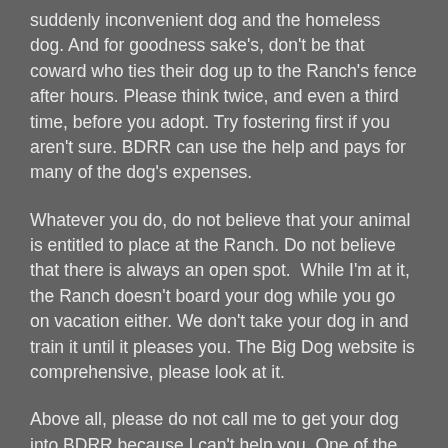suddenly inconvenient dog and the homeless dog. And for goodness sake's, don't be that coward who ties their dog up to the Ranch's fence after hours. Please think twice, and even a third time, before you adopt. Try fostering first if you aren't sure. BDRR can use the help and pays for many of the dog's expenses.
Whatever you do, do not believe that your animal is entitled to place at the Ranch. Do not believe that there is always an open spot. While I'm at it, the Ranch doesn't board your dog while you go on vacation either. We don't take your dog in and train it until it pleases you. The Big Dog website is comprehensive, please look at it.
Above all, please do not call me to get your dog into BDRR because I can't help you. One of the reasons? I've